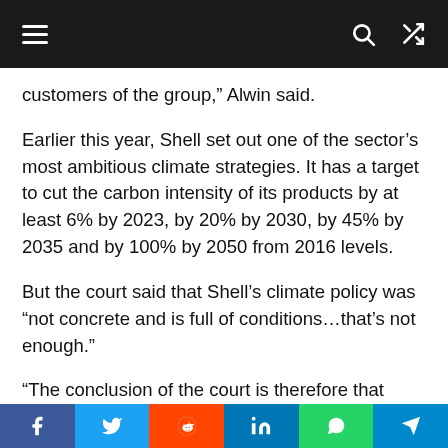Navigation bar with menu, search, and shuffle icons
customers of the group,” Alwin said.
Earlier this year, Shell set out one of the sector’s most ambitious climate strategies. It has a target to cut the carbon intensity of its products by at least 6% by 2023, by 20% by 2030, by 45% by 2035 and by 100% by 2050 from 2016 levels.
But the court said that Shell’s climate policy was “not concrete and is full of conditions…that’s not enough.”
“The conclusion of the court is therefore that Shell is in danger of violating its obligation to reduce. And the court will therefore issue an order
Social share bar: Facebook, Twitter, Reddit, LinkedIn, WhatsApp, Telegram